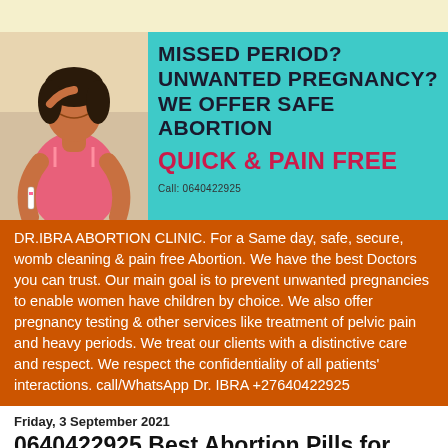[Figure (photo): Advertisement banner with a photo of a woman looking distressed on the left, and teal background with text on the right reading: MISSED PERIOD? UNWANTED PREGNANCY? WE OFFER SAFE ABORTION QUICK & PAIN FREE Call: 0640422925]
DR.IBRA ABORTION CLINIC. For a Same day, safe, secure, womb cleaning & pain free Abortion. We have the best Doctors you can trust. Our main goal is to prevent unwanted pregnancies to enable women have children by choice. We also offer pregnancy testing & other services like treatment of pelvic pain and heavy periods. We treat our clients with a distinctive care and respect. We respect the confidentiality of all patients' interactions. call/WhatsApp Dr. IBRA +27640422925
Friday, 3 September 2021
0640422925 Best Abortion Pills for